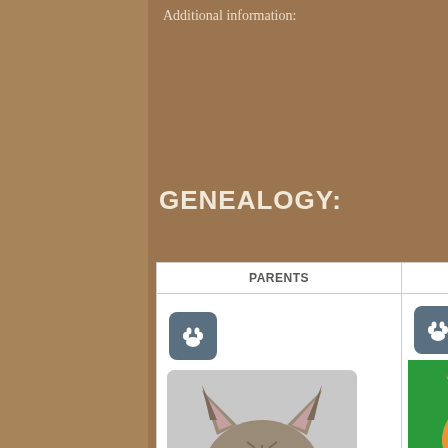Additional information:
GENEALOGY:
| PARENTS | GRANDPA... |
| --- | --- |
| [paw icon] [cat photo - Maine Coon tabby] | [paw icon] [cat photo - orange Maine Coon on green] DreamCoon Fideli... Maine Coon, Title: Supreme Gr... TICA |